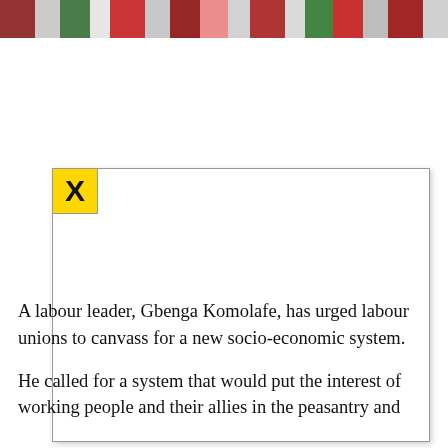[Figure (photo): A strip photo at the top of the page showing a group of people in colorful attire, predominantly red, green, and white colors, likely at a rally or protest event.]
[Figure (other): A yellow close/dismiss button with a bold X symbol, positioned at the top-left corner of a dialog or overlay box.]
A labour leader, Gbenga Komolafe, has urged labour unions to canvass for a new socio-economic system.
He called for a system that would put the interest of working people and their allies in the peasantry and